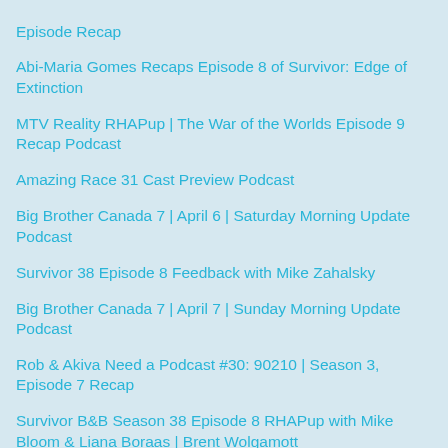Episode Recap
Abi-Maria Gomes Recaps Episode 8 of Survivor: Edge of Extinction
MTV Reality RHAPup | The War of the Worlds Episode 9 Recap Podcast
Amazing Race 31 Cast Preview Podcast
Big Brother Canada 7 | April 6 | Saturday Morning Update Podcast
Survivor 38 Episode 8 Feedback with Mike Zahalsky
Big Brother Canada 7 | April 7 | Sunday Morning Update Podcast
Rob & Akiva Need a Podcast #30: 90210 | Season 3, Episode 7 Recap
Survivor B&B Season 38 Episode 8 RHAPup with Mike Bloom & Liana Boraas | Brent Wolgamott
Big Brother Canada 7 | April 7 | Exit Interview
Survivor 38 Episode 8 TWIS with Jenny Autumn
Why ____ Lost Survivor 38 Episode 8 RHAPup with David Bloomberg & Jessica Lewis
Big Brother Canada 7 | April 7 | Sunday HOH Episode